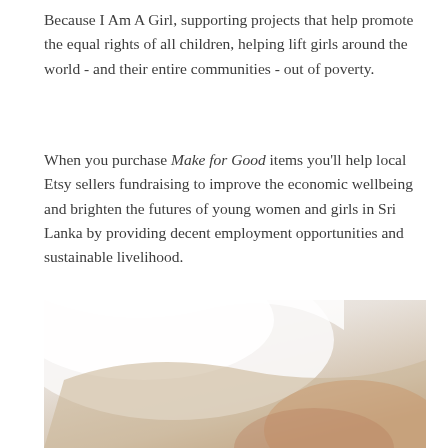Because I Am A Girl, supporting projects that help promote the equal rights of all children, helping lift girls around the world - and their entire communities - out of poverty.
When you purchase Make for Good items you'll help local Etsy sellers fundraising to improve the economic wellbeing and brighten the futures of young women and girls in Sri Lanka by providing decent employment opportunities and sustainable livelihood.
[Figure (photo): Close-up photo showing hands or fabric in white and light skin tones, soft focus]